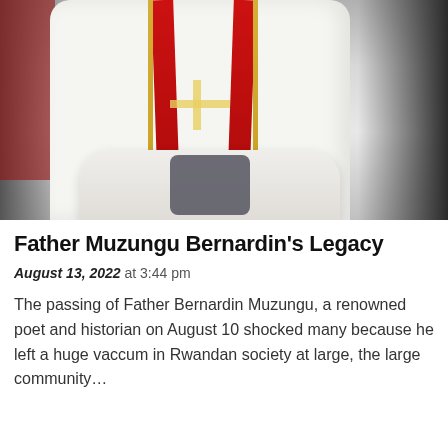[Figure (photo): A priest wearing white liturgical robes with a red stole and gold cross ornament, arms crossed, photographed from chest down, with a dark background and red door visible on the left.]
Father Muzungu Bernardin's Legacy
August 13, 2022 at 3:44 pm
The passing of Father Bernardin Muzungu, a renowned poet and historian on August 10 shocked many because he left a huge vaccum in Rwandan society at large, the large community…